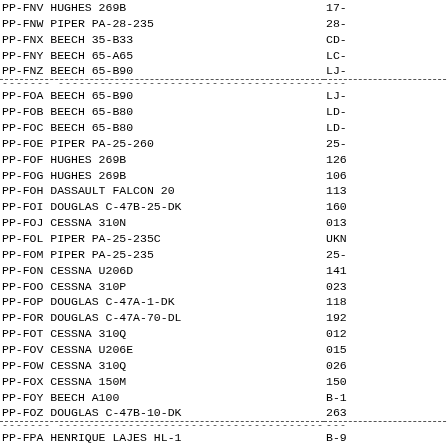| Registration/Aircraft | Serial/Code |
| --- | --- |
| PP-FNV HUGHES 269B | 17- |
| PP-FNW PIPER PA-28-235 | 28- |
| PP-FNX BEECH 35-B33 | CD- |
| PP-FNY BEECH 65-A65 | LC- |
| PP-FNZ BEECH 65-B90 | LJ- |
| ---separator--- |  |
| PP-FOA BEECH 65-B90 | LJ- |
| PP-FOB BEECH 65-B80 | LD- |
| PP-FOC BEECH 65-B80 | LD- |
| PP-FOE PIPER PA-25-260 | 25- |
| PP-FOF HUGHES 269B | 126 |
| PP-FOG HUGHES 269B | 106 |
| PP-FOH DASSAULT FALCON 20 | 113 |
| PP-FOI DOUGLAS C-47B-25-DK | 160 |
| PP-FOJ CESSNA 310N | 013 |
| PP-FOL PIPER PA-25-235C | UKN |
| PP-FOM PIPER PA-25-235 | 25- |
| PP-FON CESSNA U206D | 141 |
| PP-FOO CESSNA 310P | 023 |
| PP-FOP DOUGLAS C-47A-1-DK | 118 |
| PP-FOR DOUGLAS C-47A-70-DL | 192 |
| PP-FOT CESSNA 310Q | 012 |
| PP-FOV CESSNA U206E | 015 |
| PP-FOW CESSNA 310Q | 026 |
| PP-FOX CESSNA 150M | 150 |
| PP-FOY BEECH A100 | B-1 |
| PP-FOZ DOUGLAS C-47B-10-DK | 263 |
| ---separator--- |  |
| PP-FPA HENRIQUE LAJES HL-1 | B-9 |
| PP-FPC IPE-02B | 010 |
| PP-FPD IPE-02B | 011 |
| PP-FPE IPE-02B | 012 |
| PP-FPF IPE-02B | 013 |